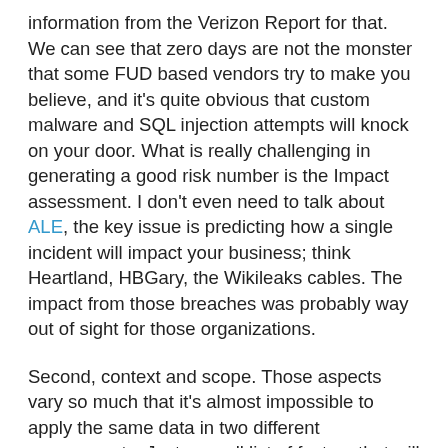information from the Verizon Report for that. We can see that zero days are not the monster that some FUD based vendors try to make you believe, and it's quite obvious that custom malware and SQL injection attempts will knock on your door. What is really challenging in generating a good risk number is the Impact assessment. I don't even need to talk about ALE, the key issue is predicting how a single incident will impact your business; think Heartland, HBGary, the Wikileaks cables. The impact from those breaches was probably way out of sight for those organizations.
Second, context and scope. Those aspects vary so much that it's almost impossible to apply the same data in two different assessments. Just a small list of factors that will make likelihood and impact factors different for the same issue for two different organizations: Size, demographics (different countries, for example), business, public image, technologies being used, internal organization and IT maturity, adversaries involved. About scope: with the level of interconnectivity and interdependency in organizations Today, how can we clearly determine the scope of a risk number? How much the number from "adjacent scopes" can